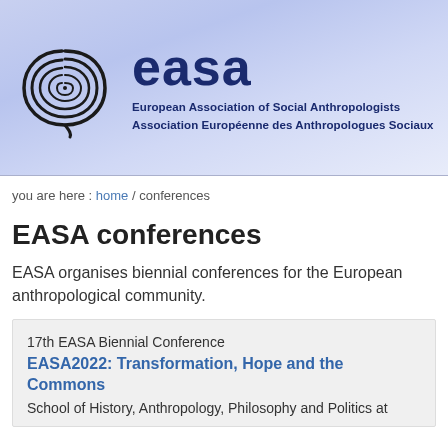[Figure (logo): EASA logo: spiral/concentric circles symbol with 'easa' wordmark and full organization name in English and French]
you are here : home / conferences
EASA conferences
EASA organises biennial conferences for the European anthropological community.
17th EASA Biennial Conference
EASA2022: Transformation, Hope and the Commons
School of History, Anthropology, Philosophy and Politics at